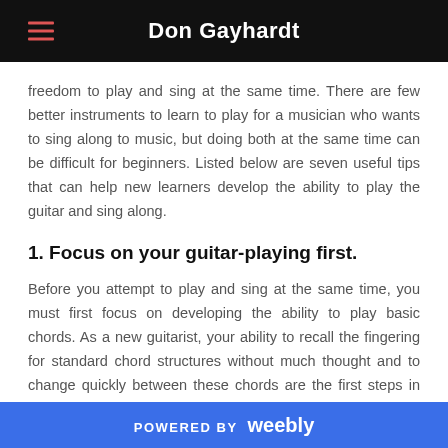Don Gayhardt
freedom to play and sing at the same time. There are few better instruments to learn to play for a musician who wants to sing along to music, but doing both at the same time can be difficult for beginners. Listed below are seven useful tips that can help new learners develop the ability to play the guitar and sing along.
1. Focus on your guitar-playing first.
Before you attempt to play and sing at the same time, you must first focus on developing the ability to play basic chords. As a new guitarist, your ability to recall the fingering for standard chord structures without much thought and to change quickly between these chords are the first steps in singing along to a song on the guitar.
POWERED BY weebly